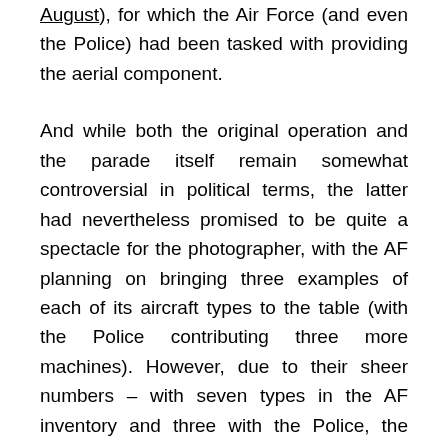August), for which the Air Force (and even the Police) had been tasked with providing the aerial component.
And while both the original operation and the parade itself remain somewhat controversial in political terms, the latter had nevertheless promised to be quite a spectacle for the photographer, with the AF planning on bringing three examples of each of its aircraft types to the table (with the Police contributing three more machines). However, due to their sheer numbers – with seven types in the AF inventory and three with the Police, the logistics of